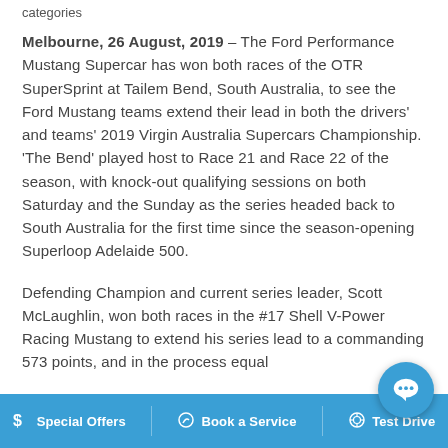categories
Melbourne, 26 August, 2019 – The Ford Performance Mustang Supercar has won both races of the OTR SuperSprint at Tailem Bend, South Australia, to see the Ford Mustang teams extend their lead in both the drivers' and teams' 2019 Virgin Australia Supercars Championship. 'The Bend' played host to Race 21 and Race 22 of the season, with knock-out qualifying sessions on both Saturday and the Sunday as the series headed back to South Australia for the first time since the season-opening Superloop Adelaide 500.
Defending Champion and current series leader, Scott McLaughlin, won both races in the #17 Shell V-Power Racing Mustang to extend his series lead to a commanding 573 points, and in the process equal
$ Special Offers   Book a Service   Test Drive